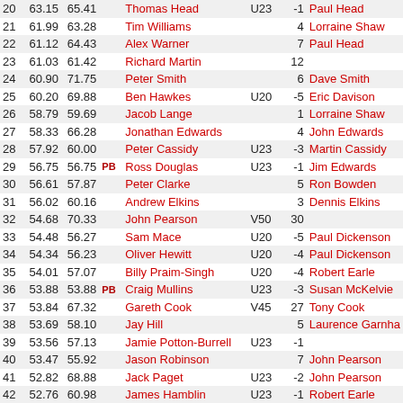| Pos | Score1 | Score2 | PB | Name | Cat | Hcap | Coach |
| --- | --- | --- | --- | --- | --- | --- | --- |
| 20 | 63.15 | 65.41 |  | Thomas Head | U23 | -1 | Paul Head |
| 21 | 61.99 | 63.28 |  | Tim Williams |  | 4 | Lorraine Shaw |
| 22 | 61.12 | 64.43 |  | Alex Warner |  | 7 | Paul Head |
| 23 | 61.03 | 61.42 |  | Richard Martin |  | 12 |  |
| 24 | 60.90 | 71.75 |  | Peter Smith |  | 6 | Dave Smith |
| 25 | 60.20 | 69.88 |  | Ben Hawkes | U20 | -5 | Eric Davison |
| 26 | 58.79 | 59.69 |  | Jacob Lange |  | 1 | Lorraine Shaw |
| 27 | 58.33 | 66.28 |  | Jonathan Edwards |  | 4 | John Edwards |
| 28 | 57.92 | 60.00 |  | Peter Cassidy | U23 | -3 | Martin Cassidy |
| 29 | 56.75 | 56.75 | PB | Ross Douglas | U23 | -1 | Jim Edwards |
| 30 | 56.61 | 57.87 |  | Peter Clarke |  | 5 | Ron Bowden |
| 31 | 56.02 | 60.16 |  | Andrew Elkins |  | 3 | Dennis Elkins |
| 32 | 54.68 | 70.33 |  | John Pearson | V50 | 30 |  |
| 33 | 54.48 | 56.27 |  | Sam Mace | U20 | -5 | Paul Dickenson |
| 34 | 54.34 | 56.23 |  | Oliver Hewitt | U20 | -4 | Paul Dickenson |
| 35 | 54.01 | 57.07 |  | Billy Praim-Singh | U20 | -4 | Robert Earle |
| 36 | 53.88 | 53.88 | PB | Craig Mullins | U23 | -3 | Susan McKelvie |
| 37 | 53.84 | 67.32 |  | Gareth Cook | V45 | 27 | Tony Cook |
| 38 | 53.69 | 58.10 |  | Jay Hill |  | 5 | Laurence Garnha |
| 39 | 53.56 | 57.13 |  | Jamie Potton-Burrell | U23 | -1 |  |
| 40 | 53.47 | 55.92 |  | Jason Robinson |  | 7 | John Pearson |
| 41 | 52.82 | 68.88 |  | Jack Paget | U23 | -2 | John Pearson |
| 42 | 52.76 | 60.98 |  | James Hamblin | U23 | -1 | Robert Earle |